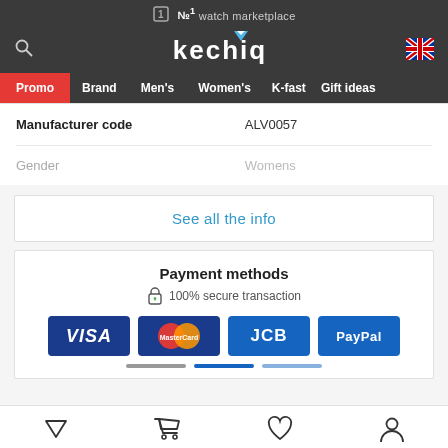No.1 watch marketplace
[Figure (logo): Kechiq logo with navigation bar showing Promo, Brand, Men's, Women's, K-fast, Gift ideas]
| Manufacturer code | ALV0057 |
| Gender | Womens |
See all the info
Payment methods
100% secure transaction
[Figure (other): Payment card logos: VISA, MasterCard, JCB, PayPal]
Bottom navigation icons: filter, cart, wishlist, account